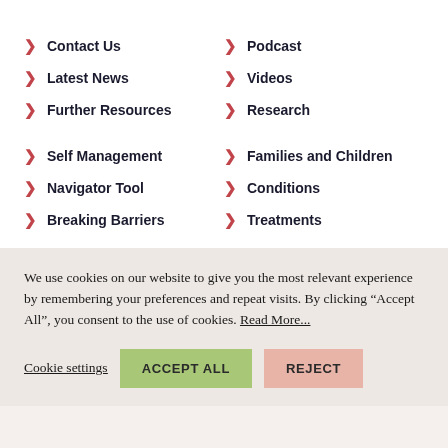Contact Us
Podcast
Latest News
Videos
Further Resources
Research
Self Management
Families and Children
Navigator Tool
Conditions
Breaking Barriers
Treatments
We use cookies on our website to give you the most relevant experience by remembering your preferences and repeat visits. By clicking “Accept All”, you consent to the use of cookies. Read More...
Cookie settings | ACCEPT ALL | REJECT